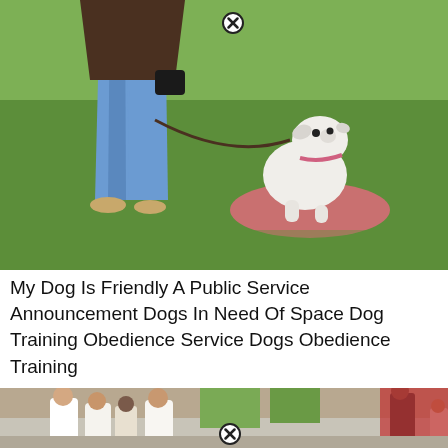[Figure (photo): A person in jeans and tan shoes standing on grass holding a leash, with a white dog sitting on a pink/red cloth looking up at the person. The background is green grass.]
My Dog Is Friendly A Public Service Announcement Dogs In Need Of Space Dog Training Obedience Service Dogs Obedience Training
[Figure (photo): A group of people standing on a city street, including men in white shirts, partially cropped at the bottom of the page. There is a close button icon overlaid on the image.]